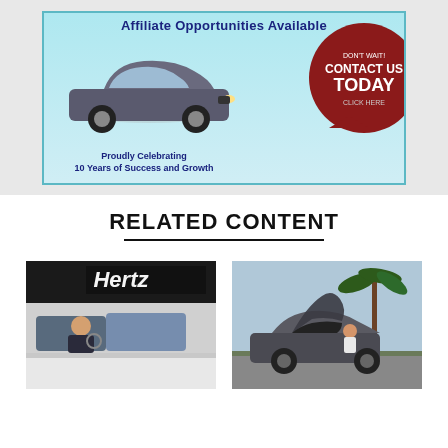[Figure (illustration): Affiliate Opportunities Available banner with a sedan car image on the left, a dark red circular call-to-action button on the right reading 'DON'T WAIT! CONTACT US TODAY CLICK HERE', and text at the bottom reading 'Proudly Celebrating 10 Years of Success and Growth']
RELATED CONTENT
[Figure (photo): A man driving a car at a Hertz rental car location]
[Figure (photo): A Tesla Model X with falcon wing doors open, parked outdoors near palm trees]